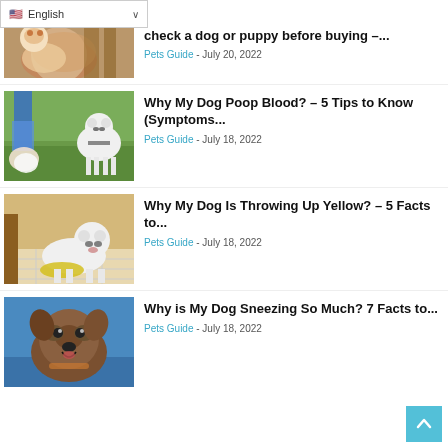[Figure (screenshot): Language selector dropdown showing English with US flag]
check a dog or puppy before buying –...
Pets Guide - July 20, 2022
[Figure (photo): Person picking up dog waste with a white fluffy dog in background on grass]
Why My Dog Poop Blood? – 5 Tips to Know (Symptoms...
Pets Guide - July 18, 2022
[Figure (photo): Small white fluffy dog sitting on tile floor near yellow vomit]
Why My Dog Is Throwing Up Yellow? – 5 Facts to...
Pets Guide - July 18, 2022
[Figure (photo): Brown and white dog with mouth open against blue background]
Why is My Dog Sneezing So Much? 7 Facts to...
Pets Guide - July 18, 2022